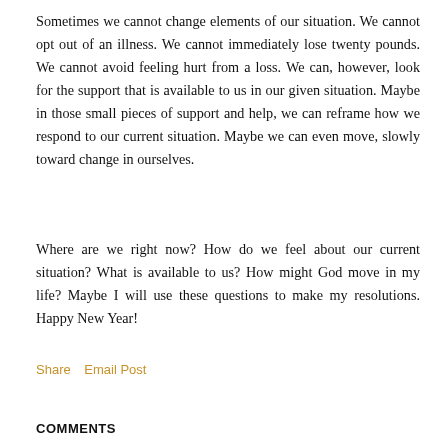Sometimes we cannot change elements of our situation. We cannot opt out of an illness. We cannot immediately lose twenty pounds. We cannot avoid feeling hurt from a loss. We can, however, look for the support that is available to us in our given situation. Maybe in those small pieces of support and help, we can reframe how we respond to our current situation. Maybe we can even move, slowly toward change in ourselves.
Where are we right now? How do we feel about our current situation? What is available to us? How might God move in my life? Maybe I will use these questions to make my resolutions. Happy New Year!
Share    Email Post
COMMENTS